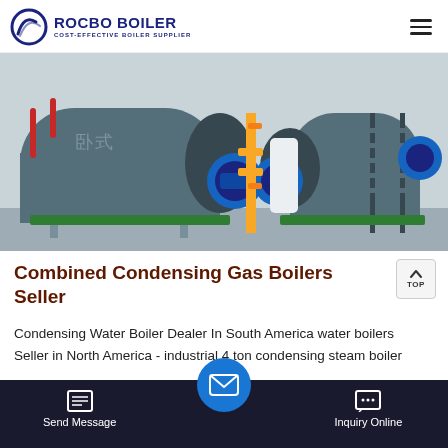ROCBO BOILER - COST-EFFECTIVE BOILER SUPPLIER
[Figure (photo): Industrial gas boilers in a facility — large cylindrical blue boilers with pipes, yellow gas lines, and metal staircases]
Combined Condensing Gas Boilers Seller
Condensing Water Boiler Dealer In South America water boilers Seller in North America - industrial 4 ton condensing steam boiler ... vacuum ... boil... industri...
Send Message | Inquiry Online